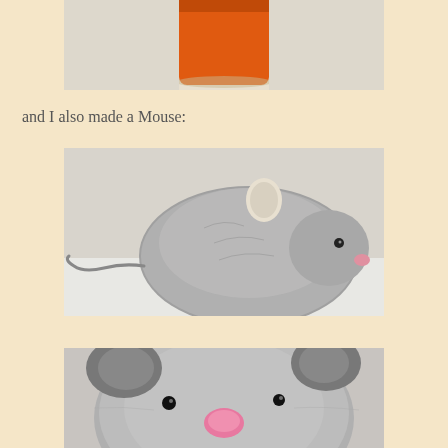[Figure (photo): Partial top photo showing an orange cylindrical cup or container on a light background, cropped at the top of the page]
and I also made a Mouse:
[Figure (photo): Side view of a handmade knitted/crocheted grey mouse toy with a yarn tail and white ear, sitting on a white surface]
[Figure (photo): Front face close-up of a handmade knitted/crocheted grey mouse toy with dark ears, small black eyes, and a pink nose]